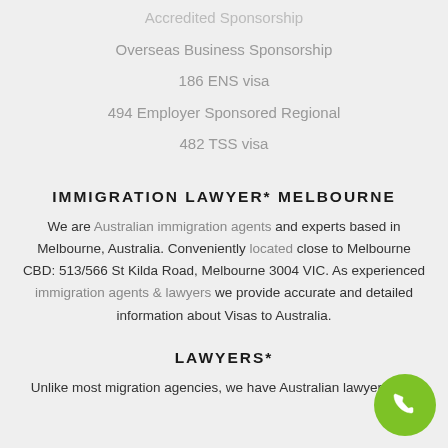Accredited Sponsorship
Overseas Business Sponsorship
186 ENS visa
494 Employer Sponsored Regional
482 TSS visa
IMMIGRATION LAWYER* MELBOURNE
We are Australian immigration agents and experts based in Melbourne, Australia. Conveniently located close to Melbourne CBD: 513/566 St Kilda Road, Melbourne 3004 VIC. As experienced immigration agents & lawyers we provide accurate and detailed information about Visas to Australia.
LAWYERS*
Unlike most migration agencies, we have Australian lawyers who